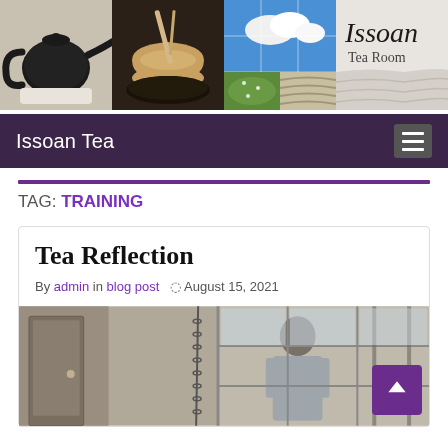[Figure (photo): Header banner with collage of Japanese tea ceremony images: black teapot on stand, matcha bowl with whisk and chopsticks on dark tray, blue sky with clouds grid, green leaf with water droplets, sand ripples, and Issoan Tea Room logo text top right]
Issoan Tea
TAG: TRAINING
Tea Reflection
By admin in blog post  August 15, 2021
[Figure (photo): Photo of a person in a Japanese tea room, standing near a window with grid shoji-style frame, chain hanging from ceiling, room has wooden door on left]